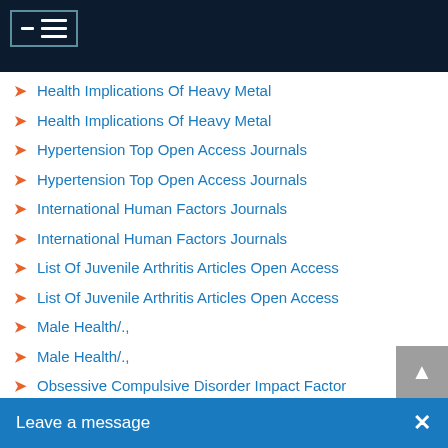Navigation menu header bar
Health Implications Of Heavy Metal
Health Implications Of Heavy Metal
Hypertension Top Open Access Journals
Hypertension Top Open Access Journals
International Human Factors Journals
International Human Factors Journals
List Of Juvenile Arthritis Articles Open Access
List Of Juvenile Arthritis Articles Open Access
Male Health/.,
Male Health/.,
Obsessive Compulsive Disorder Impact Factor
Obsessive Compulsive Disorder Impact Factor
Obsessive Compulsive Disorder Scholarly Peer-review Journal